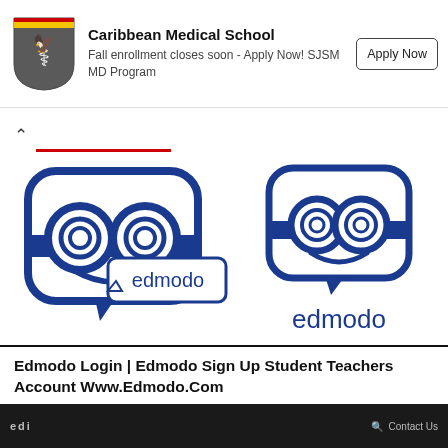[Figure (logo): Caribbean Medical School ad banner with shield logo, text 'Caribbean Medical School', 'Fall enrollment closes soon - Apply Now! SJSM MD Program', and 'Apply Now' button]
[Figure (logo): Edmodo logos: large Edmodo speech-bubble mascot logo with 'edmodo' text in a speech bubble on the left, and smaller Edmodo mascot logo with 'edmodo' text below on the right]
Edmodo Login | Edmodo Sign Up Student Teachers Account  Www.Edmodo.Com
March 27, 2022
[Figure (screenshot): Partial video thumbnail with dark background, partial logo text visible, search icon and 'Contact Us' text on right]